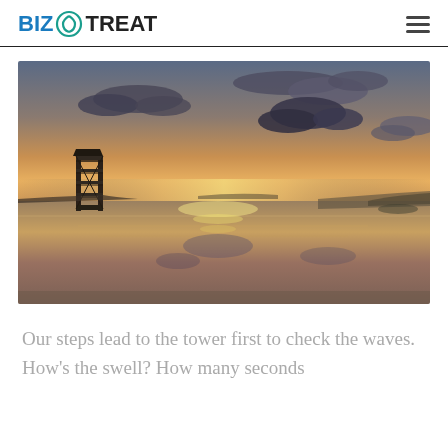BIZOTREAT
[Figure (photo): Coastal sunset scene with dramatic clouds reflected in calm water, a wooden structure/tower visible on the left shore, warm orange and golden tones in the sky and water reflection.]
Our steps lead to the tower first to check the waves. How's the swell? How many seconds